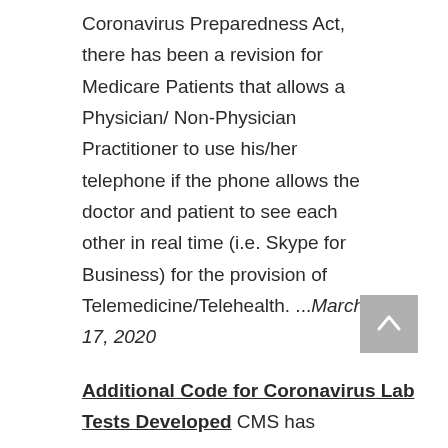Coronavirus Preparedness Act, there has been a revision for Medicare Patients that allows a Physician/ Non-Physician Practitioner to use his/her telephone if the phone allows the doctor and patient to see each other in real time (i.e. Skype for Business) for the provision of Telemedicine/Telehealth. ...March 17, 2020
Additional Code for Coronavirus Lab Tests Developed CMS has